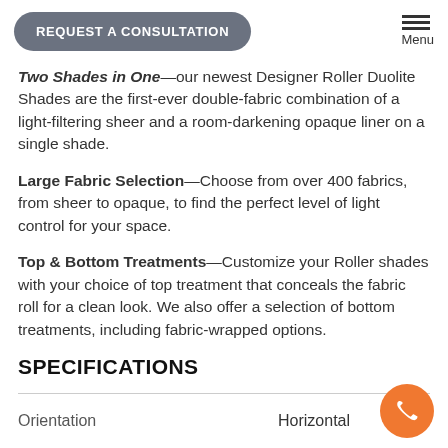REQUEST A CONSULTATION | Menu
Two Shades in One—our newest Designer Roller Duolite Shades are the first-ever double-fabric combination of a light-filtering sheer and a room-darkening opaque liner on a single shade.
Large Fabric Selection—Choose from over 400 fabrics, from sheer to opaque, to find the perfect level of light control for your space.
Top & Bottom Treatments—Customize your Roller shades with your choice of top treatment that conceals the fabric roll for a clean look. We also offer a selection of bottom treatments, including fabric-wrapped options.
SPECIFICATIONS
|  |  |
| --- | --- |
| Orientation | Horizontal |